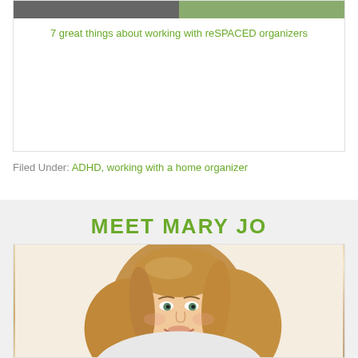[Figure (photo): Two photos side by side at top of a blog post card]
7 great things about working with reSPACED organizers
Filed Under: ADHD, working with a home organizer
MEET MARY JO
[Figure (photo): Portrait photo of Mary Jo, a smiling woman with blonde/auburn shoulder-length hair]